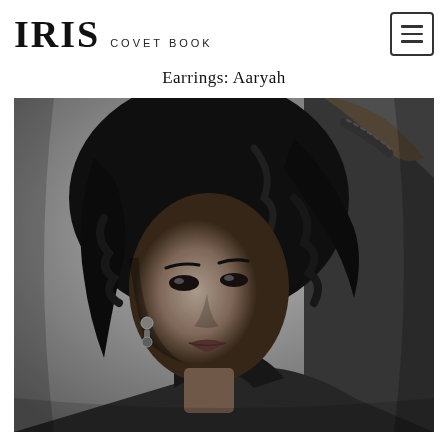IRIS COVET BOOK
Earrings: Aaryah
[Figure (photo): Black and white fashion photograph of a young woman with long curly hair, looking directly at the camera, wearing a jacket and earrings, with one hand raised above her head.]